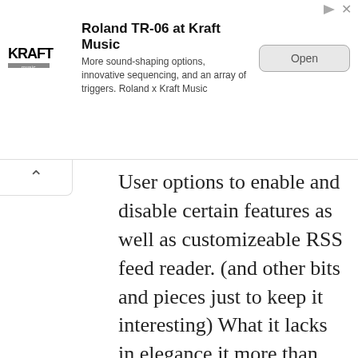[Figure (other): Advertisement banner for Roland TR-06 at Kraft Music with logo, description text, and Open button]
User options to enable and disable certain features as well as customizeable RSS feed reader. (and other bits and pieces just to keep it interesting) What it lacks in elegance it more than makes up for in fun. It is a bit too “hands-on” for the administrator for me to outright recommend anyone “roll your own” but I am glad I did.
As for sharing with the GeekLog community… I try to take an active role in the support forums, in that if I ever solve a